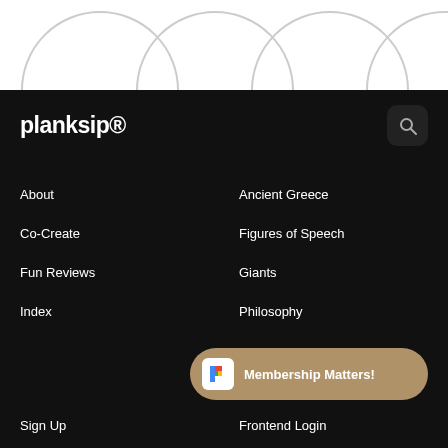[Figure (illustration): White background top section with partial grey circle arches forming arch shapes at top of page]
planksip®
About
Ancient Greece
Co-Create
Figures of Speech
Fun Reviews
Giants
Index
Philosophy
Membership Matters!
Sign Up
Frontend Login